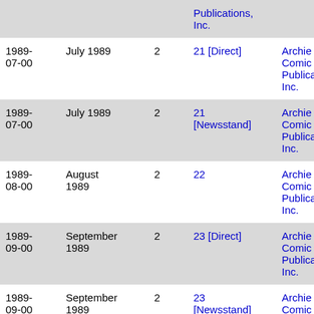| Date | Month/Year | Vol | Issue | Publisher |
| --- | --- | --- | --- | --- |
|  |  |  | Publications, Inc. |  |
| 1989-07-00 | July 1989 | 2 | 21 [Direct] | Archie Comic Publications, Inc. |
| 1989-07-00 | July 1989 | 2 | 21 [Newsstand] | Archie Comic Publications, Inc. |
| 1989-08-00 | August 1989 | 2 | 22 | Archie Comic Publications, Inc. |
| 1989-09-00 | September 1989 | 2 | 23 [Direct] | Archie Comic Publications, Inc. |
| 1989-09-00 | September 1989 | 2 | 23 [Newsstand] | Archie Comic |